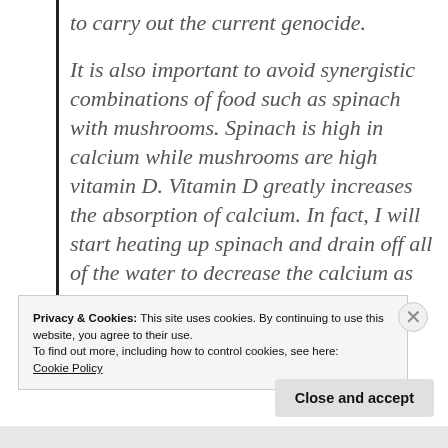to carry out the current genocide.
It is also important to avoid synergistic combinations of food such as spinach with mushrooms. Spinach is high in calcium while mushrooms are high vitamin D. Vitamin D greatly increases the absorption of calcium. In fact, I will start heating up spinach and drain off all of the water to decrease the calcium as much as possible since I was
Privacy & Cookies: This site uses cookies. By continuing to use this website, you agree to their use.
To find out more, including how to control cookies, see here: Cookie Policy
Close and accept